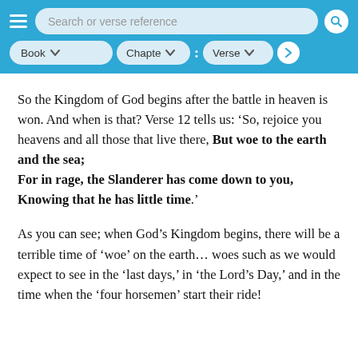Search or verse reference | Book | Chapte | Verse
So the Kingdom of God begins after the battle in heaven is won. And when is that? Verse 12 tells us: ‘So, rejoice you heavens and all those that live there, But woe to the earth and the sea; For in rage, the Slanderer has come down to you, Knowing that he has little time.’
As you can see; when God’s Kingdom begins, there will be a terrible time of ‘woe’ on the earth… woes such as we would expect to see in the ‘last days,’ in ‘the Lord’s Day,’ and in the time when the ‘four horsemen’ start their ride!